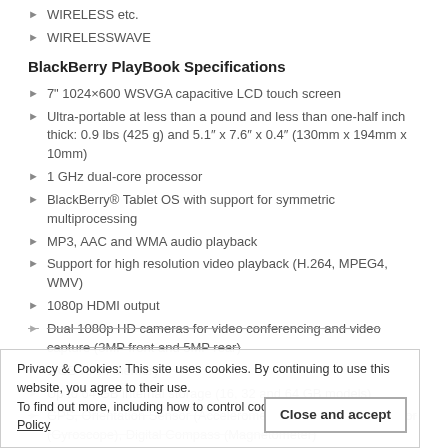WIRELESS etc.
WIRELESSWAVE
BlackBerry PlayBook Specifications
7" 1024×600 WSVGA capacitive LCD touch screen
Ultra-portable at less than a pound and less than one-half inch thick: 0.9 lbs (425 g) and 5.1″ x 7.6″ x 0.4″ (130mm x 194mm x 10mm)
1 GHz dual-core processor
BlackBerry® Tablet OS with support for symmetric multiprocessing
MP3, AAC and WMA audio playback
Support for high resolution video playback (H.264, MPEG4, WMV)
1080p HDMI output
Dual 1080p HD cameras for video conferencing and video capture (3MP front and 5MP rear)
1 GB RAM memory
Up to 64 GB internal storage (16, 32 and 64 GB models)
GPS, Orientation Sensor (Accelerometer), 6-Axis Motion Sensor (Gyroscope), Digital Compass (Magnetometer)
Stereo speakers and stereo microphones
Wi-Fi® (802.11 a/b/g/n) connectivity
Privacy & Cookies: This site uses cookies. By continuing to use this website, you agree to their use.
To find out more, including how to control cookies, see here: Cookie Policy